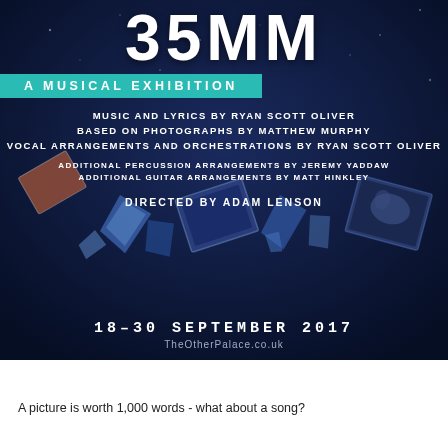[Figure (illustration): Theatrical poster for 35MM: A Musical Exhibition on dark navy blue background with scattered broken/floating photographs and crystal fragments. Features large white bold text '35MM' at top, teal banner subtitle, white credits text, and dates at bottom.]
35MM
A MUSICAL EXHIBITION
MUSIC AND LYRICS BY RYAN SCOTT OLIVER
BASED ON PHOTOGRAPHS BY MATTHEW MURPHY
VOCAL ARRANGEMENTS AND ORCHESTRATIONS BY RYAN SCOTT OLIVER
ADDITIONAL PERCUSSION ARRANGEMENTS BY JEREMY YADDAW
ADDITIONAL GUITAR ARRANGEMENTS BY MATT HINKLEY
DIRECTED BY ADAM LENSON
18–30 SEPTEMBER 2017
TheOtherPalace.co.uk
A picture is worth 1,000 words - what about a song?